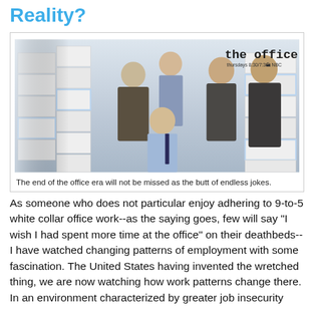Reality?
[Figure (photo): Promotional photo for 'The Office' TV show on NBC, showing five office workers/characters among stacks of boxes and file folders. Logo reads 'the office' with 'thursdays 8:30/7:30c NBC' beneath it.]
The end of the office era will not be missed as the butt of endless jokes.
As someone who does not particular enjoy adhering to 9-to-5 white collar office work--as the saying goes, few will say "I wish I had spent more time at the office" on their deathbeds--I have watched changing patterns of employment with some fascination. The United States having invented the wretched thing, we are now watching how work patterns change there. In an environment characterized by greater job insecurity